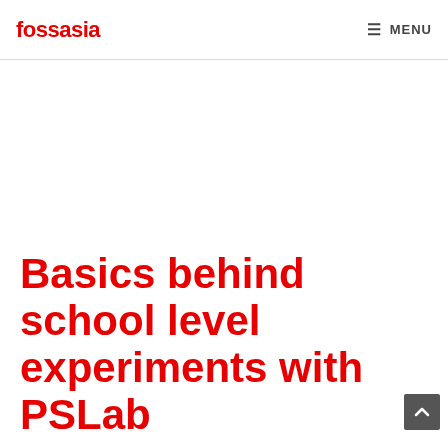fossasia  MENU
Basics behind school level experiments with PSLab